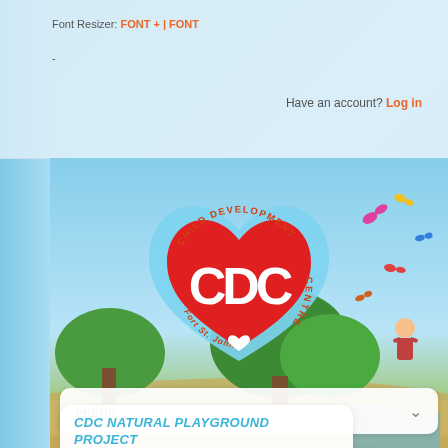Font Resizer: FONT + | FONT -
Have an account? Log in
[Figure (logo): CDC Child Development Centre Fort St. John logo — red heart with CDC letters inside a light blue heart shape, with text arcing around reading 'Child Development Centre' and 'Fort St. John']
[Figure (illustration): Colorful banner illustration with sky, trees, sandy ground, cartoon children and butterflies]
Home
CDC NATURAL PLAYGROUND PROJECT
An interactive natural playspace full of fun for all!